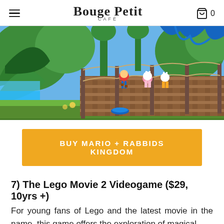Bouge Petit Café — navigation header with hamburger menu and cart (0 items)
[Figure (screenshot): Screenshot from Mario + Rabbids Kingdom game showing Mario and Rabbid characters running across a wooden bridge in a colorful jungle/tropical environment with giant plants and bamboo.]
BUY MARIO + RABBIDS KINGDOM
7) The Lego Movie 2 Videogame ($29, 10yrs +)
For young fans of Lego and the latest movie in the name, this game offers the exploration of magical